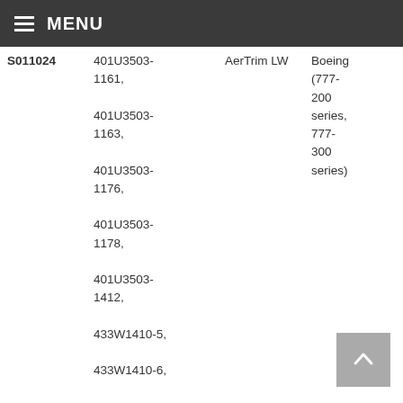MENU
| ID | Part Numbers | Brand | Compatibility | Price |
| --- | --- | --- | --- | --- |
| S011024 | 401U3503-1161, 401U3503-1163, 401U3503-1176, 401U3503-1178, 401U3503-1412, 433W1410-5, 433W1410-6, 433W1411-2, 433W1421-7, 433W2334-3, | AerTrim LW | Boeing (777-200 series, 777-300 series) | Request For Price |